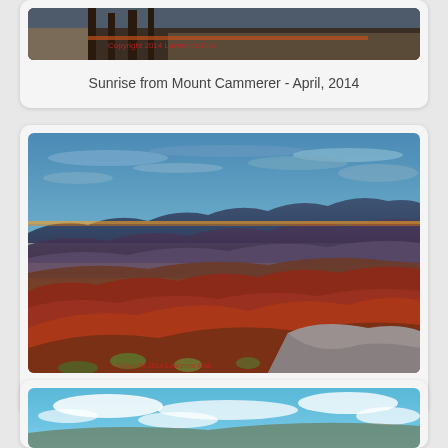[Figure (photo): Partial view of a sunrise photo from Mount Cammerer showing trees and rocky terrain with text overlay]
Sunrise from Mount Cammerer - April, 2014
[Figure (photo): Panoramic mountain landscape at pre-sunrise showing rolling autumn hills with red and orange foliage, dramatic orange and blue sunset sky with wispy clouds, and a large granite rock in foreground]
Mount Cammerer Pre-Sunrise
[Figure (photo): Partial view of another mountain landscape photo showing blue sky with white clouds]